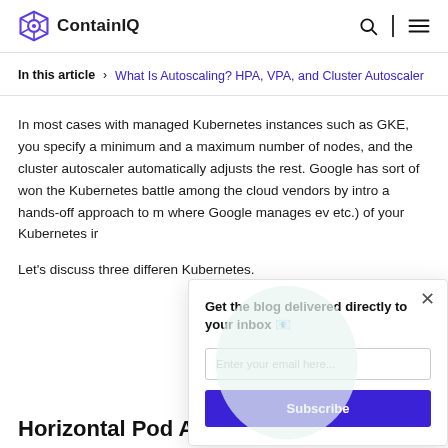ContainIQ
In this article › What Is Autoscaling? HPA, VPA, and Cluster Autoscaler
In most cases with managed Kubernetes instances such as GKE, you specify a minimum and a maximum number of nodes, and the cluster autoscaler automatically adjusts the rest. Google has sort of won the Kubernetes battle among the cloud vendors by intro a hands-off approach to m where Google manages ev etc.) of your Kubernetes ir
Let's discuss three differen Kubernetes.
Horizontal Pod Au